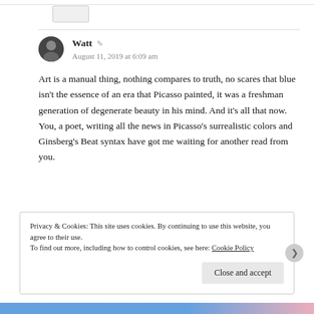[Figure (photo): Small avatar stub rectangle at top left]
Watt
August 11, 2019 at 6:09 am
Art is a manual thing, nothing compares to truth, no scares that blue isn't the essence of an era that Picasso painted, it was a freshman generation of degenerate beauty in his mind. And it's all that now. You, a poet, writing all the news in Picasso's surrealistic colors and Ginsberg's Beat syntax have got me waiting for another read from you.
Privacy & Cookies: This site uses cookies. By continuing to use this website, you agree to their use.
To find out more, including how to control cookies, see here: Cookie Policy
Close and accept